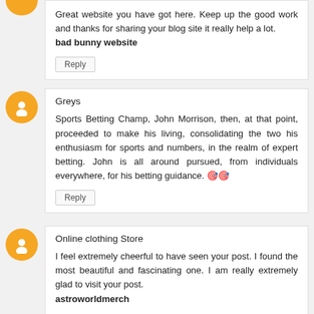Great website you have got here. Keep up the good work and thanks for sharing your blog site it really help a lot. bad bunny website
Reply
Greys
Sports Betting Champ, John Morrison, then, at that point, proceeded to make his living, consolidating the two his enthusiasm for sports and numbers, in the realm of expert betting. John is all around pursued, from individuals everywhere, for his betting guidance. 🎯🎯
Reply
Online clothing Store
I feel extremely cheerful to have seen your post. I found the most beautiful and fascinating one. I am really extremely glad to visit your post. astroworldmerch